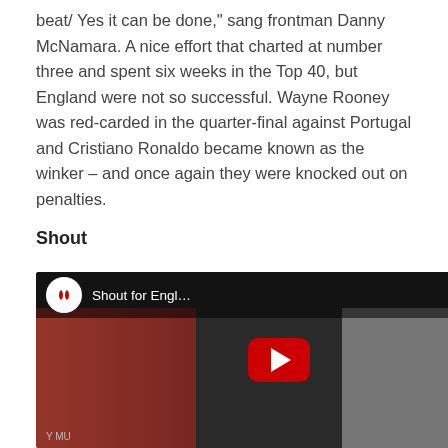beat/ Yes it can be done," sang frontman Danny McNamara. A nice effort that charted at number three and spent six weeks in the Top 40, but England were not so successful. Wayne Rooney was red-carded in the quarter-final against Portugal and Cristiano Ronaldo became known as the winker – and once again they were knocked out on penalties.
Shout
[Figure (screenshot): YouTube video thumbnail for 'Shout for Engl...' showing a dark scene with crowd/people in red and white, a YouTube play button in the center, and a channel logo in the top left corner.]